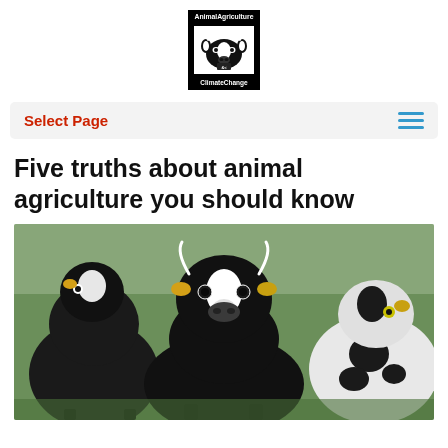[Figure (logo): Animal Agriculture and Climate Change logo — black box with white bold text 'AnimalAgriculture' at top, white silhouette cow head in center, 'ClimateChange' text at bottom]
Select Page
Five truths about animal agriculture you should know
[Figure (photo): Black and white dairy cows face-on, standing in a green field. The center cow has yellow ear tags and a white blaze on its face.]